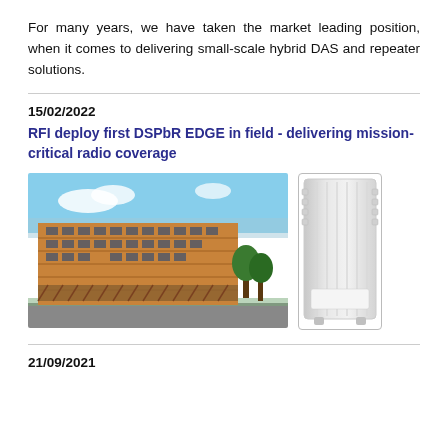For many years, we have taken the market leading position, when it comes to delivering small-scale hybrid DAS and repeater solutions.
15/02/2022
RFI deploy first DSPbR EDGE in field - delivering mission-critical radio coverage
[Figure (photo): Two photos side by side: left shows a large modern brick-clad multi-storey building exterior; right shows a white outdoor radio/repeater device unit.]
21/09/2021